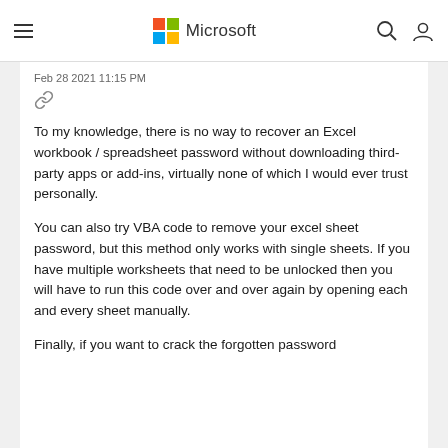Microsoft
Feb 28 2021 11:15 PM
To my knowledge, there is no way to recover an Excel workbook / spreadsheet password without downloading third-party apps or add-ins, virtually none of which I would ever trust personally.
You can also try VBA code to remove your excel sheet password, but this method only works with single sheets. If you have multiple worksheets that need to be unlocked then you will have to run this code over and over again by opening each and every sheet manually.
Finally, if you want to crack the forgotten password